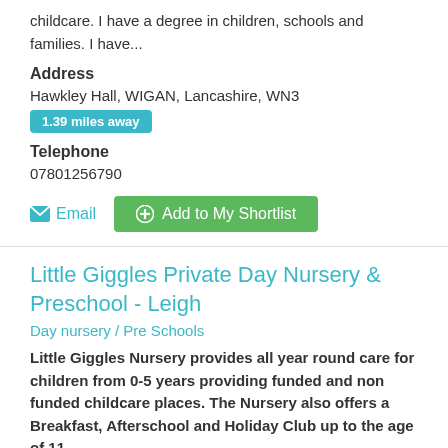childcare. I have a degree in children, schools and families. I have...
Address
Hawkley Hall, WIGAN, Lancashire, WN3
1.39 miles away
Telephone
07801256790
Email
Add to My Shortlist
Little Giggles Private Day Nursery & Preschool - Leigh
Day nursery / Pre Schools
Little Giggles Nursery provides all year round care for children from 0-5 years providing funded and non funded childcare places. The Nursery also offers a Breakfast, Afterschool and Holiday Club up to the age of 11
Our Leigh nursery is the sixth Nursery in our chain of settings which we have developed with your child's education and comfort at the very forefront of our vision to create the most...